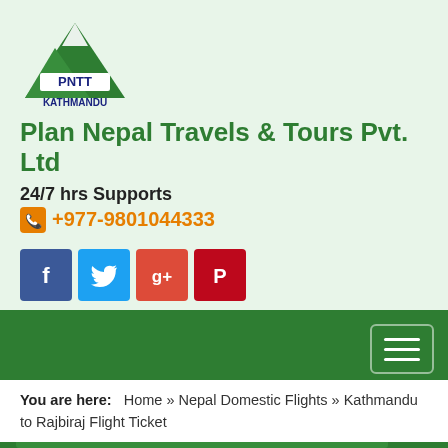[Figure (logo): PNTT Kathmandu logo with mountain triangle graphic in green and text]
Plan Nepal Travels & Tours Pvt. Ltd
24/7 hrs Supports +977-9801044333
[Figure (infographic): Social media icons: Facebook, Twitter, Google+, Pinterest]
[Figure (infographic): Dark green navigation bar with hamburger menu button and search field]
You are here: Home » Nepal Domestic Flights » Kathmandu to Rajbiraj Flight Ticket